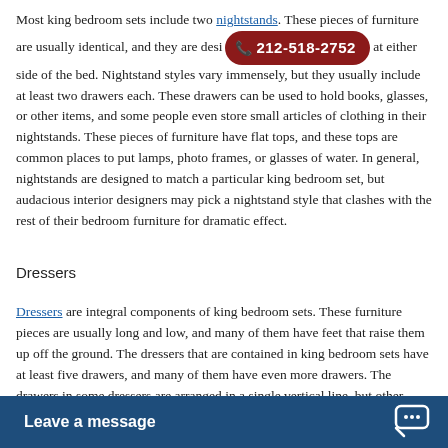Most king bedroom sets include two nightstands. These pieces of furniture are usually identical, and they are designed to sit at either side of the bed. Nightstand styles vary immensely, but they usually include at least two drawers each. These drawers can be used to hold books, glasses, or other items, and some people even store small articles of clothing in their nightstands. These pieces of furniture have flat tops, and these tops are common places to put lamps, photo frames, or glasses of water. In general, nightstands are designed to match a particular king bedroom set, but audacious interior designers may pick a nightstand style that clashes with the rest of their bedroom furniture for dramatic effect.
Dressers
Dressers are integral components of king bedroom sets. These furniture pieces are usually long and low, and many of them have feet that raise them up off the ground. The dressers that are contained in king bedroom sets have at least five drawers, and many of them have even more drawers. The drawers in some dressers are arranged in a single vertical line, but other dressers used in king bedroom sets have drawers that are arranged parallel to each other. Sinc